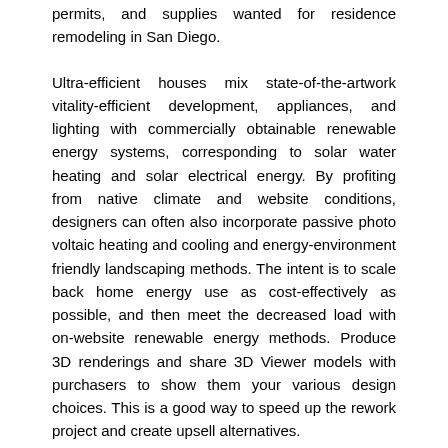permits, and supplies wanted for residence remodeling in San Diego.
Ultra-efficient houses mix state-of-the-artwork vitality-efficient development, appliances, and lighting with commercially obtainable renewable energy systems, corresponding to solar water heating and solar electrical energy. By profiting from native climate and website conditions, designers can often also incorporate passive photo voltaic heating and cooling and energy-environment friendly landscaping methods. The intent is to scale back home energy use as cost-effectively as possible, and then meet the decreased load with on-website renewable energy methods. Produce 3D renderings and share 3D Viewer models with purchasers to show them your various design choices. This is a good way to speed up the rework project and create upsell alternatives.